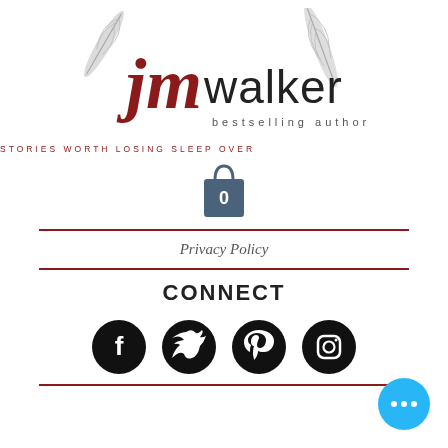[Figure (logo): JM Walker bestselling author logo with feathers and script text]
STORIES WORTH LOSING SLEEP OVER
[Figure (illustration): Shopping bag icon with number 0]
Privacy Policy
CONNECT
[Figure (illustration): Social media icons: Facebook, Twitter, Pinterest, Instagram]
[Figure (illustration): Blue chat bubble with three dots]